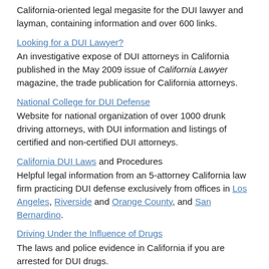California-oriented legal megasite for the DUI lawyer and layman, containing information and over 600 links.
Looking for a DUI Lawyer?
An investigative expose of DUI attorneys in California published in the May 2009 issue of California Lawyer magazine, the trade publication for California attorneys.
National College for DUI Defense
Website for national organization of over 1000 drunk driving attorneys, with DUI information and listings of certified and non-certified DUI attorneys.
California DUI Laws and Procedures
Helpful legal information from an 5-attorney California law firm practicing DUI defense exclusively from offices in Los Angeles, Riverside and Orange County, and San Bernardino.
Driving Under the Influence of Drugs
The laws and police evidence in California if you are arrested for DUI drugs.
MADD and Madder: Today's DUI Defense Bar is More Focused and Aggressive Than Ever Before
Interesting article in the "American Bar Association Journal" reporting on the counter-offensive from increasingly specialized and technically sophisticated DWI Lawyers.